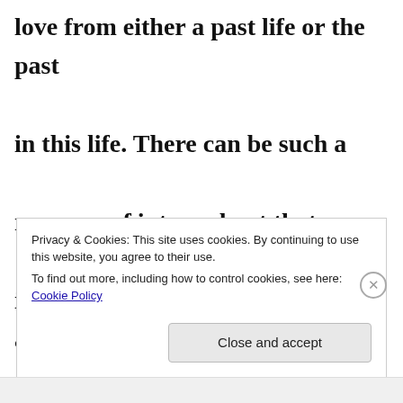love from either a past life or the past in this life. There can be such a memory of intense hurt that an individual will not risk being hurt again by exposing themselves to yet another
Privacy & Cookies: This site uses cookies. By continuing to use this website, you agree to their use.
To find out more, including how to control cookies, see here: Cookie Policy
Close and accept